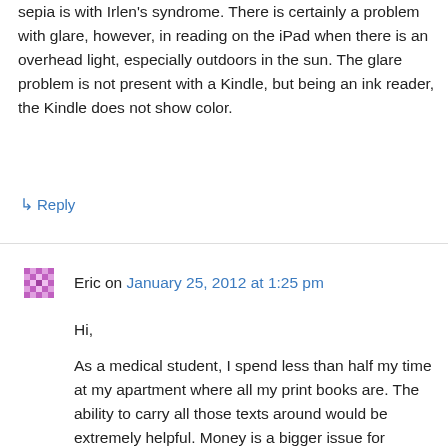sepia is with Irlen's syndrome. There is certainly a problem with glare, however, in reading on the iPad when there is an overhead light, especially outdoors in the sun. The glare problem is not present with a Kindle, but being an ink reader, the Kindle does not show color.
↳ Reply
Eric on January 25, 2012 at 1:25 pm
Hi,
As a medical student, I spend less than half my time at my apartment where all my print books are. The ability to carry all those texts around would be extremely helpful. Money is a bigger issue for students as well.